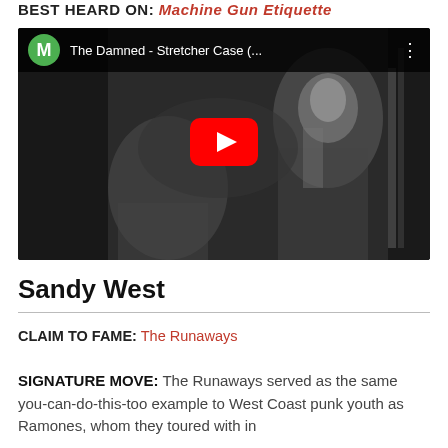BEST HEARD ON: Machine Gun Etiquette
[Figure (screenshot): YouTube video thumbnail for 'The Damned - Stretcher Case (...)' showing a black and white photo of a performer with a microphone, with a red YouTube play button in the center and a green 'M' avatar icon in the top-left.]
Sandy West
CLAIM TO FAME: The Runaways
SIGNATURE MOVE: The Runaways served as the same you-can-do-this-too example to West Coast punk youth as Ramones, whom they toured with in